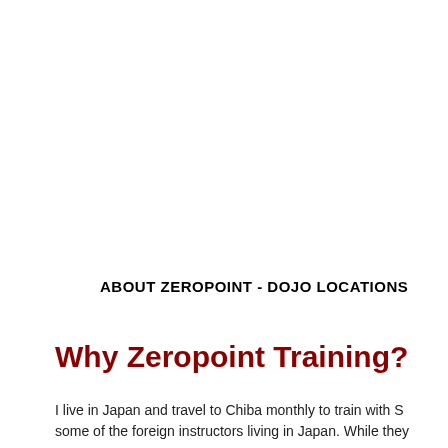ABOUT ZEROPOINT - DOJO LOCATIONS
Why Zeropoint Training?
I live in Japan and travel to Chiba monthly to train with S... some of the foreign instructors living in Japan. While they